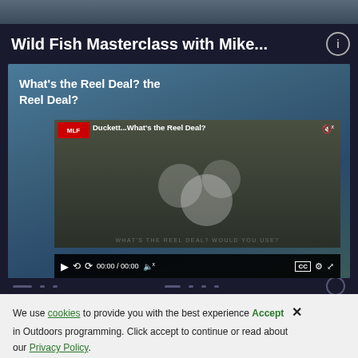[Figure (screenshot): Top image strip - partial fishing/outdoor scene]
Wild Fish Masterclass with Mike...
[Figure (screenshot): Video player showing 'Duckett/What's the Reel Deal?' MLF fishing video with three men in red caps, video controls showing 00:00 / 00:00]
We use cookies to provide you with the best experience in Outdoors programming. Click accept to continue or read about our Privacy Policy.